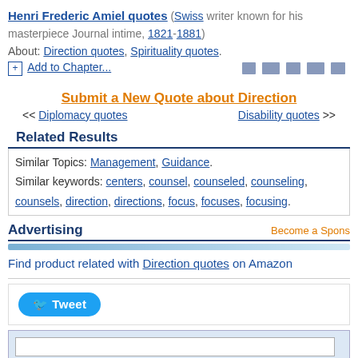Henri Frederic Amiel quotes (Swiss writer known for his masterpiece Journal intime, 1821-1881)
About: Direction quotes, Spirituality quotes.
Add to Chapter...
Submit a New Quote about Direction
<< Diplomacy quotes    Disability quotes >>
Related Results
Similar Topics: Management, Guidance.
Similar keywords: centers, counsel, counseled, counseling, counsels, direction, directions, focus, focuses, focusing.
Advertising
Find product related with Direction quotes on Amazon
Tweet
Search